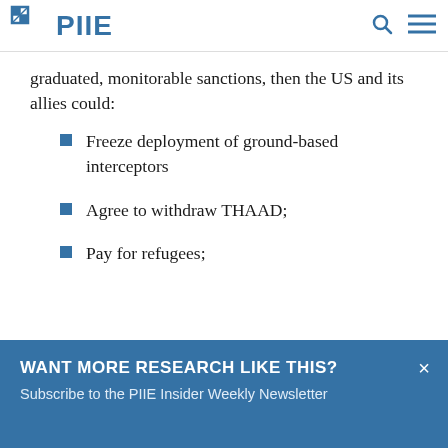PIIE
graduated, monitorable sanctions, then the US and its allies could:
Freeze deployment of ground-based interceptors
Agree to withdraw THAAD;
Pay for refugees;
WANT MORE RESEARCH LIKE THIS?
Subscribe to the PIIE Insider Weekly Newsletter